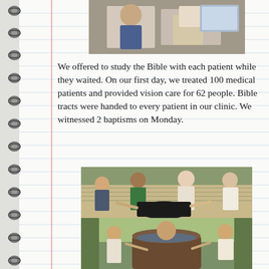[Figure (photo): Photo at top of page showing people at a medical/mission setting]
We offered to study the Bible with each patient while they waited. On our first day, we treated 100 medical patients and provided vision care for 62 people. Bible tracts were handed to every patient in our clinic. We witnessed 2 baptisms on Monday.
[Figure (photo): Two photos showing baptism scenes outdoors with a group of people around a barrel/tub of water]